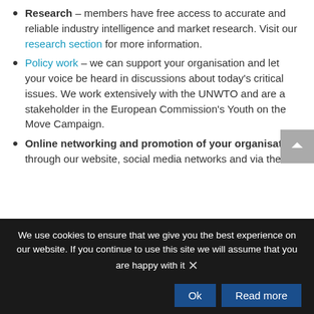Research – members have free access to accurate and reliable industry intelligence and market research. Visit our research section for more information.
Policy work – we can support your organisation and let your voice be heard in discussions about today's critical issues. We work extensively with the UNWTO and are a stakeholder in the European Commission's Youth on the Move Campaign.
Online networking and promotion of your organisation through our website, social media networks and via the WYSE Travel
We use cookies to ensure that we give you the best experience on our website. If you continue to use this site we will assume that you are happy with it